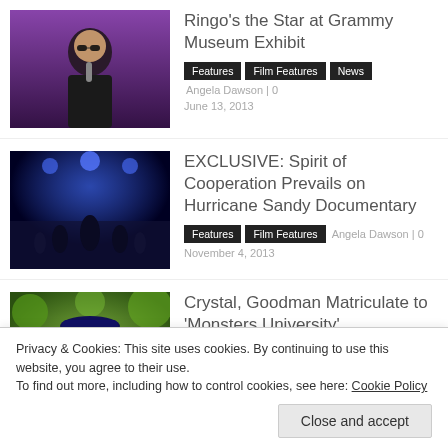[Figure (photo): Man in dark jacket holding microphone against purple background]
Ringo's the Star at Grammy Museum Exhibit
Features | Film Features | News   Angela Dawson | 0   June 13, 2013
[Figure (photo): Concert stage with blue lighting and performers]
EXCLUSIVE: Spirit of Cooperation Prevails on Hurricane Sandy Documentary
Features | Film Features   Angela Dawson | 0   November 4, 2013
[Figure (photo): Animated monster character from Monsters University]
Crystal, Goodman Matriculate to 'Monsters University'
Features | Film Features   Angela Dawson | 0
Privacy & Cookies: This site uses cookies. By continuing to use this website, you agree to their use.
To find out more, including how to control cookies, see here: Cookie Policy
Close and accept
September 25, 2014